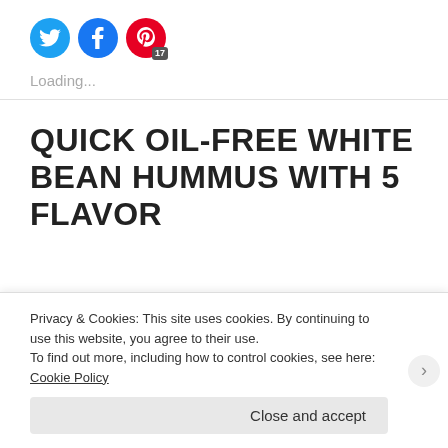[Figure (other): Social share buttons: Twitter (cyan circle with bird icon), Facebook (blue circle with f icon), Pinterest (red circle with P icon and badge showing 17)]
Loading...
QUICK OIL-FREE WHITE BEAN HUMMUS WITH 5 FLAVOR
Privacy & Cookies: This site uses cookies. By continuing to use this website, you agree to their use.
To find out more, including how to control cookies, see here: Cookie Policy
Close and accept